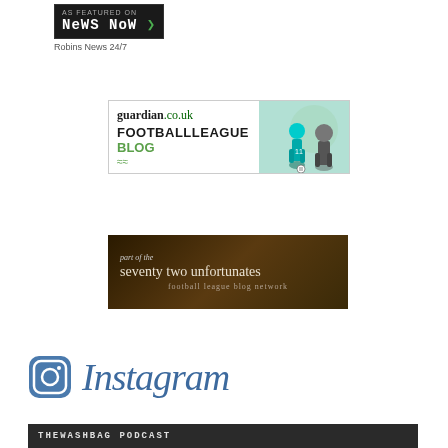[Figure (logo): News Now 'As Featured On' badge in dark background with green arrow, labeled Robins News 24/7]
Robins News 24/7
[Figure (logo): guardian.co.uk Football League Blog banner with football player illustrations]
[Figure (logo): Part of the seventy two unfortunates football league blog network dark brown banner]
[Figure (logo): Instagram logo with camera icon and Instagram wordmark in blue]
[Figure (logo): THEWASHBAG PODCAST dark banner at bottom]